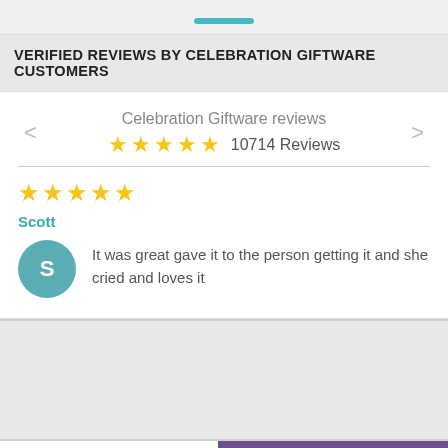VERIFIED REVIEWS BY CELEBRATION GIFTWARE CUSTOMERS
[Figure (infographic): Review widget showing Celebration Giftware reviews with 5 gold stars and 10714 Reviews count, with navigation arrows]
Scott
It was great gave it to the person getting it and she cried and loves it
Leave a message